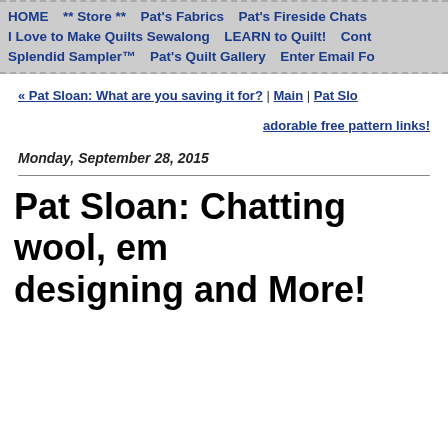HOME  ** Store **  Pat's Fabrics  Pat's Fireside Chats  I Love to Make Quilts Sewalong  LEARN to Quilt!  Cont...  Splendid Sampler™  Pat's Quilt Gallery  Enter Email Fo...
« Pat Sloan: What are you saving it for? | Main | Pat Slo... adorable free pattern links!
Monday, September 28, 2015
Pat Sloan: Chatting wool, em... designing and More!